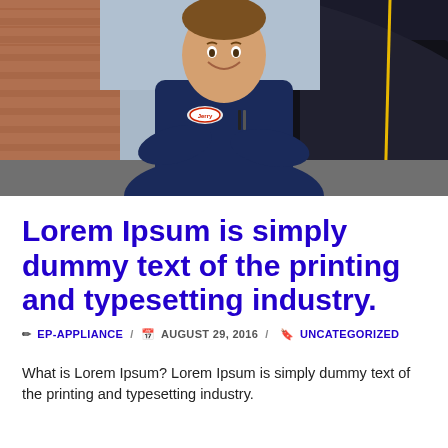[Figure (photo): A smiling male mechanic in a dark blue uniform with arms crossed, standing in front of a car with the hood open, at an auto repair shop.]
Lorem Ipsum is simply dummy text of the printing and typesetting industry.
✏ EP-APPLIANCE / 📅 AUGUST 29, 2016 / 🔖 UNCATEGORIZED
What is Lorem Ipsum? Lorem Ipsum is simply dummy text of the printing and typesetting industry.